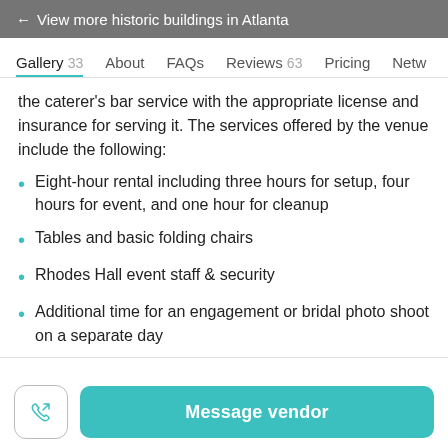← View more historic buildings in Atlanta
Gallery 33   About   FAQs   Reviews 63   Pricing   Netw
the caterer's bar service with the appropriate license and insurance for serving it. The services offered by the venue include the following:
Eight-hour rental including three hours for setup, four hours for event, and one hour for cleanup
Tables and basic folding chairs
Rhodes Hall event staff & security
Additional time for an engagement or bridal photo shoot on a separate day
Message vendor